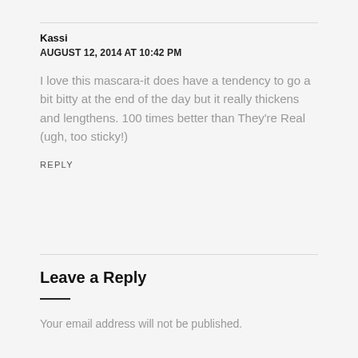Kassi
AUGUST 12, 2014 AT 10:42 PM
I love this mascara-it does have a tendency to go a bit bitty at the end of the day but it really thickens and lengthens. 100 times better than They're Real (ugh, too sticky!)
REPLY
Leave a Reply
Your email address will not be published.